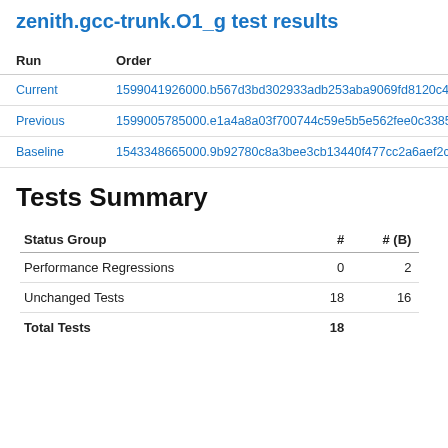zenith.gcc-trunk.O1_g test results
| Run | Order |
| --- | --- |
| Current | 1599041926000.b567d3bd302933adb253aba9069fd8120c485 |
| Previous | 1599005785000.e1a4a8a03f700744c59e5b5e562fee0c33859 |
| Baseline | 1543348665000.9b92780c8a3bee3cb13440f477cc2a6aef2ce |
Tests Summary
| Status Group | # | # (B) |
| --- | --- | --- |
| Performance Regressions | 0 | 2 |
| Unchanged Tests | 18 | 16 |
| Total Tests | 18 |  |